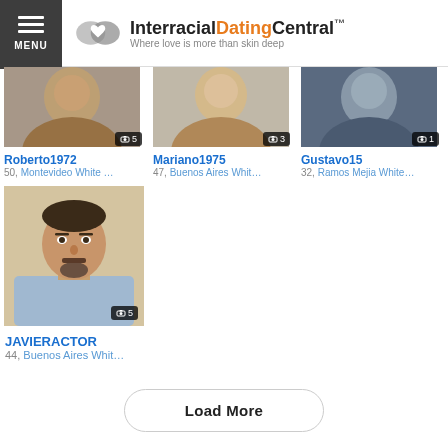InterracialDatingCentral — Where love is more than skin deep
[Figure (photo): Roberto1972 profile photo, cropped face, 5 photos badge]
Roberto1972
50, Montevideo White …
[Figure (photo): Mariano1975 profile photo, cropped face, 3 photos badge]
Mariano1975
47, Buenos Aires Whit…
[Figure (photo): Gustavo15 profile photo, cropped face, 1 photo badge]
Gustavo15
32, Ramos Mejia White…
[Figure (photo): JAVIERACTOR profile photo, man with goatee in blue shirt, 5 photos badge]
JAVIERACTOR
44, Buenos Aires Whit…
Load More